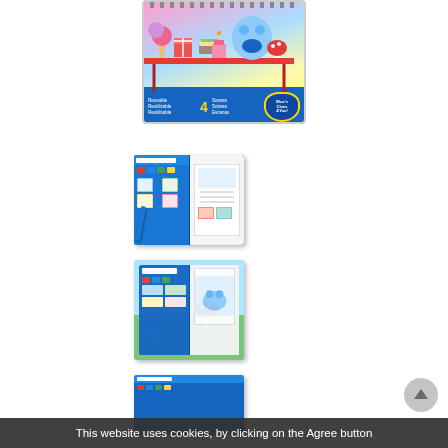[Figure (photo): Blue's Clues & You! colorful kids activity book cover with spiral binding, colorful food/party scene, blue label strip at bottom with multilingual text 'Reusable Reutilizable Reutilisable 4 Scenes Scènes Escenas']
[Figure (photo): Blue's Clues & You! blue activity book opened flat showing interior pages with sticker compartments and writing/drawing pages, with a blue pen/marker attached]
[Figure (photo): Blue's Clues & You! blue activity book opened and laid on a colorful illustrated background scene showing outdoor party scene with mushrooms and characters]
[Figure (photo): Blue's Clues & You! blue activity book shown partially at bottom of page, similar view to mid image]
This website uses cookies, by clicking on the Agree button